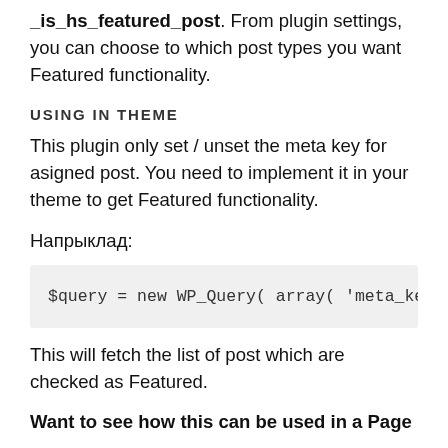_is_hs_featured_post. From plugin settings, you can choose to which post types you want Featured functionality.
USING IN THEME
This plugin only set / unset the meta key for asigned post. You need to implement it in your theme to get Featured functionality.
Напрыклад:
[Figure (screenshot): Code block showing: $query = new WP_Query( array( 'meta_key' =]
This will fetch the list of post which are checked as Featured.
Want to see how this can be used in a Page